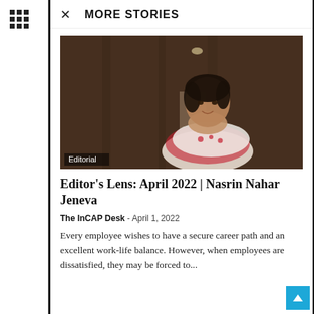[Figure (other): Grid/menu icon (3x3 dots)]
Archives
Select Month
MORE STORIES
[Figure (photo): Portrait photo of Nasrin Nahar Jeneva in a red and white saree, smiling, against a dark wood background. An 'Editorial' badge is shown at the bottom left of the image.]
Editor's Lens: April 2022 | Nasrin Nahar Jeneva
The InCAP Desk  -  April 1, 2022
Every employee wishes to have a secure career path and an excellent work-life balance. However, when employees are dissatisfied, they may be forced to...
Politics